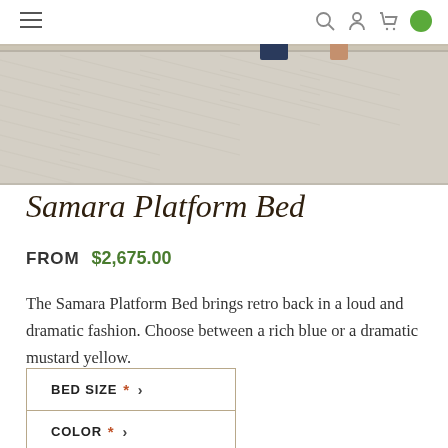Navigation bar with hamburger menu, search, account, cart icons
[Figure (photo): Product lifestyle photo showing a textured herringbone rug with furniture legs visible, light grey and beige tones]
Samara Platform Bed
FROM $2,675.00
The Samara Platform Bed brings retro back in a loud and dramatic fashion. Choose between a rich blue or a dramatic mustard yellow.
BED SIZE * >
COLOR * >